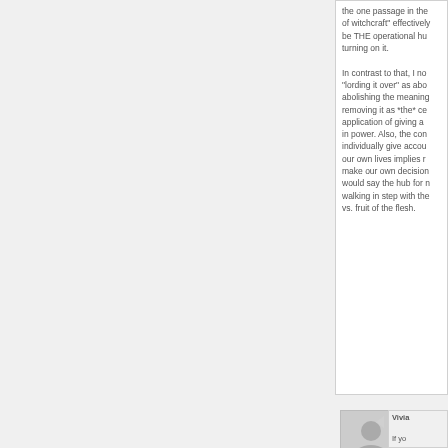the one passage in the of witchcraft" effectively be THE operational hu turning on it.

In contrast to that, I no "lording it over" as abo abolishing the meaning removing it as *the* ce application of giving a in power. Also, the con individually give accou our own lives implies r make our own decision would say the hub for n walking in step with the vs. fruit of the flesh.
[Figure (illustration): User avatar placeholder showing a generic person silhouette in gray]
Vivia

If yo